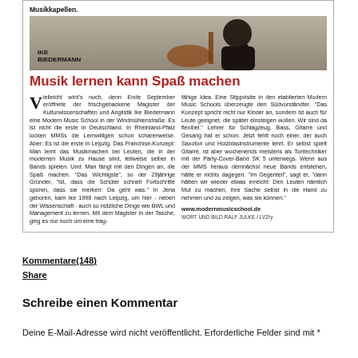Musikkapellen.
[Figure (photo): Photo of Ike Biedermann, a musician, with guitar/instrument visible]
IKE BIEDERMANN
Musik lernen kann Spaß machen
Vielleicht wird's noch, denn Ende September eröffnete der frischgebackene Magister der Kulturwissenschaften und Anglistik Ike Biedermann eine Modern Music School in der Windmühlenstraße. Es ist nicht die erste in Deutschland. In Rheinland-Pfalz locken MMSs die Lernwilligen schon scharenweise. Aber: Es ist die erste in Leipzig. Das Franchise-Konzept: Man lernt das Musikmachen bei Leuten, die in der modernen Musik zu Hause sind, teilweise selber in Bands spielen. Und: Man fängt mit den Dingen an, die Spaß machen. "Das Wichtigste", so der 29jährige Gründer, "ist, dass die Schüler schnell Fortschritte spüren, dass sie merken: Da geht was." In Jena geboren, kam Ike 1998 nach Leipzig, um hier - neben der Wissenschaft - auch so nützliche Dinge wie BWL und Management zu lernen. Mit dem Magister in der Tasche, ging es nur noch um eine trag-
fähige Idee. Eine Stippvisite in den etablierten Modern Music Schools überzeugte den Südvorstädter. "Das Konzept spricht nicht nur Kinder an, sondern ist auch für Leute geeignet, die später einsteigen wollen. Wir sind da flexibel." Lehrer für Schlagzeug, Bass, Gitarre und Gesang hat er schon. Jetzt fehlt noch einer, der auch Saxofon und Holzblasinstrumente lehrt. Er selbst spielt Gitarre, ist aber wochenends meistens als Tontechniker mit der Party-Cover-Band SK 5 unterwegs. Wenn aus der MMS heraus demnächst neue Bands entstehen, hätte er nichts dagegen. "Im Gegenteil", sagt er, "dann hätten wir wieder etwas erreicht: Den Leuten nämlich Mut zu machen, ihre Sache selbst in die Hand zu nehmen und zu zeigen, was sie können."
www.modernmusicschool.de
WORT UND BILD RALF JULKE / LVZry
Kommentare(148)
Share
Schreibe einen Kommentar
Deine E-Mail-Adresse wird nicht veröffentlicht. Erforderliche Felder sind mit *